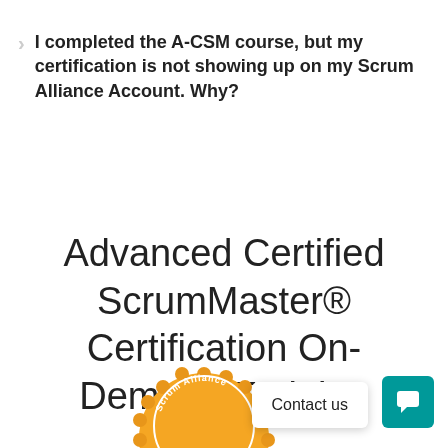I completed the A-CSM course, but my certification is not showing up on my Scrum Alliance Account. Why?
Advanced Certified ScrumMaster® Certification On-Demand Training
[Figure (logo): Scrum Alliance A-CSM badge/seal — gold circular seal with 'Scrum Alliance' text and 'A-CSM' letters partially visible at bottom]